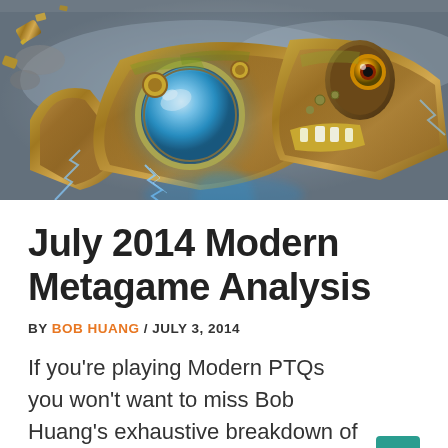[Figure (illustration): Fantasy/steampunk art illustration showing a large mechanical creature or golem with bronze/gold armor plating, glowing blue orb lens or eye, gears, and lightning effects against a grey sky background. The creature appears to be a mechanical monster from a trading card game.]
July 2014 Modern Metagame Analysis
BY BOB HUANG / JULY 3, 2014
If you're playing Modern PTQs you won't want to miss Bob Huang's exhaustive breakdown of the top